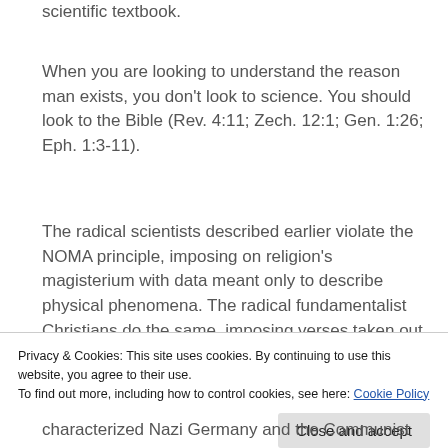scientific textbook.
When you are looking to understand the reason man exists, you don't look to science. You should look to the Bible (Rev. 4:11; Zech. 12:1; Gen. 1:26; Eph. 1:3-11).
The radical scientists described earlier violate the NOMA principle, imposing on religion's magisterium with data meant only to describe physical phenomena. The radical fundamentalist Christians do the same, imposing verses taken out of context of the Bible's purpose and intention in the…
Privacy & Cookies: This site uses cookies. By continuing to use this website, you agree to their use.
To find out more, including how to control cookies, see here: Cookie Policy
characterized Nazi Germany and the Communist